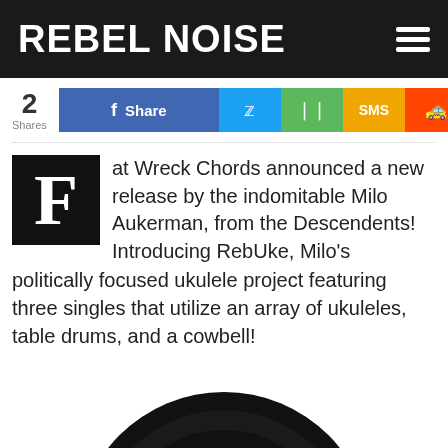REBEL NOISE
2 Shares — Share buttons: Facebook Share, Twitter, Share, SMS, Reddit
Fat Wreck Chords announced a new release by the indomitable Milo Aukerman, from the Descendents! Introducing RebUke, Milo's politically focused ukulele project featuring three singles that utilize an array of ukuleles, table drums, and a cowbell!
[Figure (photo): Black circular object (top portion visible), likely a vinyl record or drum, on white background]